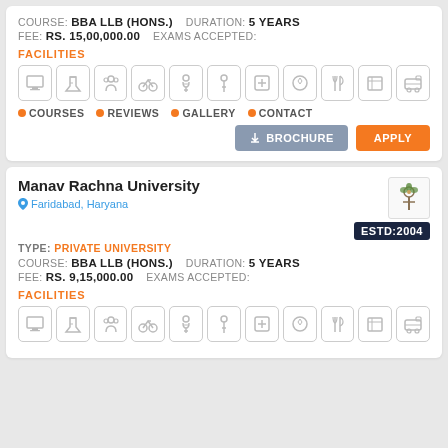COURSE: BBA LLB (HONS.)  DURATION: 5 YEARS
FEE: RS. 15,00,000.00  EXAMS ACCEPTED:
FACILITIES
[Figure (infographic): Row of 11 facility icons: computer, lab, group, cycle, female, male, first-aid, football, cutlery, book/library, transport]
COURSES
REVIEWS
GALLERY
CONTACT
BROCHURE  APPLY
Manav Rachna University
Faridabad, Haryana
ESTD:2004
TYPE: PRIVATE UNIVERSITY
COURSE: BBA LLB (HONS.)  DURATION: 5 YEARS
FEE: RS. 9,15,000.00  EXAMS ACCEPTED:
FACILITIES
[Figure (infographic): Row of 11 facility icons: computer, lab, group, cycle, female, male, first-aid, football, cutlery, book/library, transport]